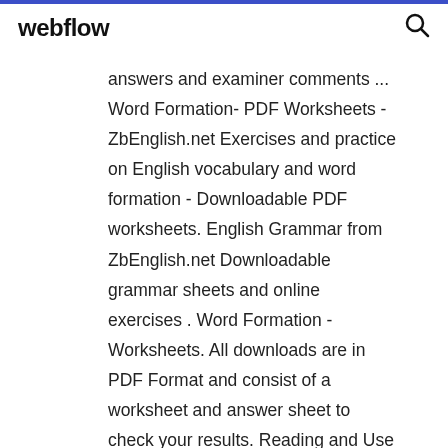webflow
answers and examiner comments ... Word Formation- PDF Worksheets - ZbEnglish.net Exercises and practice on English vocabulary and word formation - Downloadable PDF worksheets. English Grammar from ZbEnglish.net Downloadable grammar sheets and online exercises . Word Formation - Worksheets. All downloads are in PDF Format and consist of a worksheet and answer sheet to check your results. Reading and Use of English Part 4 - Key Word Transformations Information and exercises to prepare for First Certificate Use of English Part 4. You learn how to do key word transformations. This is also useful for the Spanish selectivo exam.